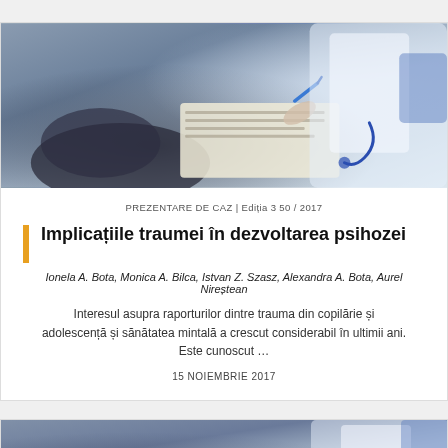[Figure (photo): Medical consultation scene: patient and doctor, doctor writing on clipboard with stethoscope visible]
PREZENTARE DE CAZ | Ediția 3 50 / 2017
Implicațiile traumei în dezvoltarea psihozei
Ionela A. Bota, Monica A. Bilca, Istvan Z. Szasz, Alexandra A. Bota, Aurel Nireștean
Interesul asupra raporturilor dintre trauma din copilărie și adolescență și sănătatea mintală a crescut considerabil în ultimii ani. Este cunoscut …
15 NOIEMBRIE 2017
[Figure (photo): Partial medical consultation scene at bottom of page, cropped]